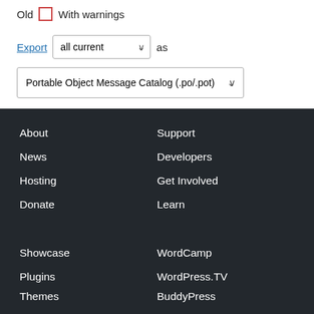Old  With warnings
Export  all current  as  Portable Object Message Catalog (.po/.pot)
About
Support
News
Developers
Hosting
Get Involved
Donate
Learn
Showcase
WordCamp
Plugins
WordPress.TV
Themes
BuddyPress